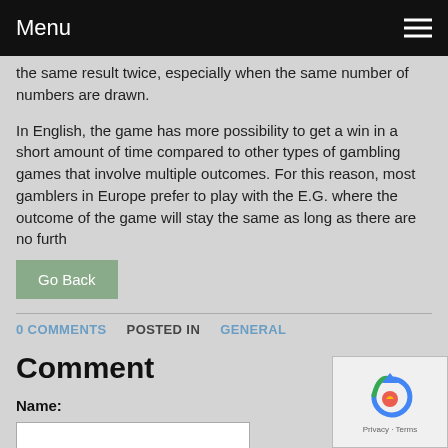Menu
the same result twice, especially when the same number of numbers are drawn.
In English, the game has more possibility to get a win in a short amount of time compared to other types of gambling games that involve multiple outcomes. For this reason, most gamblers in Europe prefer to play with the E.G. where the outcome of the game will stay the same as long as there are no furth
Go Back
0 COMMENTS   POSTED IN GENERAL
Comment
Name:
[Figure (other): reCAPTCHA widget with circular arrow icon and Privacy - Terms text]